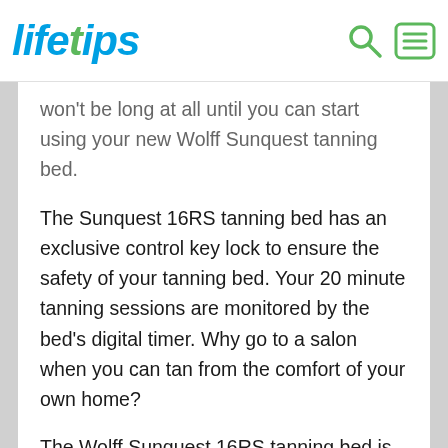lifetips
won't be long at all until you can start using your new Wolff Sunquest tanning bed.
The Sunquest 16RS tanning bed has an exclusive control key lock to ensure the safety of your tanning bed. Your 20 minute tanning sessions are monitored by the bed's digital timer. Why go to a salon when you can tan from the comfort of your own home?
The Wolff Sunquest 16RS tanning bed is 75.75"L x 35" W x 48" H and